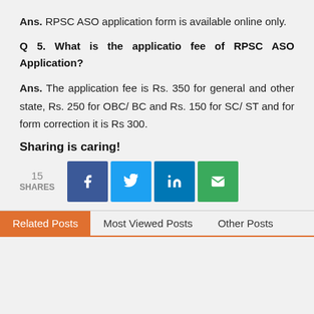Ans. RPSC ASO application form is available online only.
Q 5. What is the applicatio fee of RPSC ASO Application?
Ans. The application fee is Rs. 350 for general and other state, Rs. 250 for OBC/ BC and Rs. 150 for SC/ ST and for form correction it is Rs 300.
Sharing is caring!
[Figure (infographic): Social share buttons row showing 15 SHARES with Facebook, Twitter, LinkedIn, and Email icons]
Related Posts  Most Viewed Posts  Other Posts